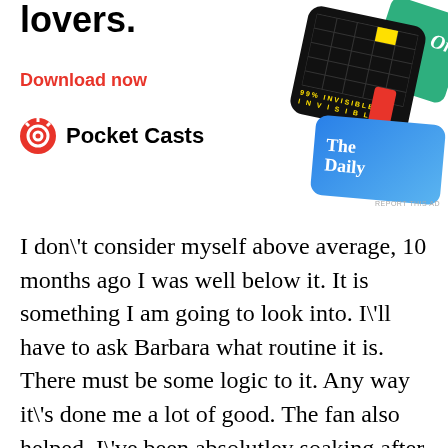[Figure (advertisement): Pocket Casts app advertisement showing podcast cover art cards (99% Invisible, The Daily, and others) with title 'lovers.' and 'Download now' call to action]
I don\'t consider myself above average, 10 months ago I was well below it. It is something I am going to look into. I\'ll have to ask Barbara what routine it is. There must be some logic to it. Any way it\'s done me a lot of good. The fan also helped, I\'ve been absolutley soaking after some classes. I stopped the clock when my pulse went down to 106 BPM.